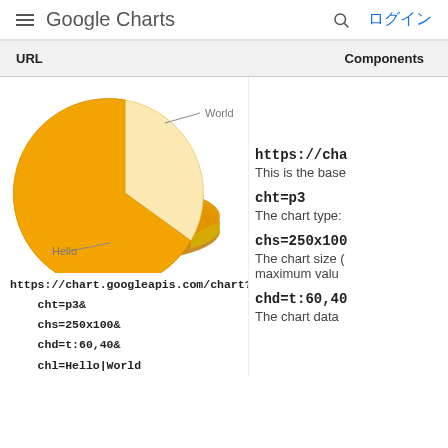Google Charts  ログイン
| URL | Components |
| --- | --- |
[Figure (pie-chart): 3D Pie Chart]
https://chart.googleapis.com/chart?
    cht=p3&
    chs=250x100&
    chd=t:60,40&
    chl=Hello|World
https://cha
This is the base
cht=p3
The chart type:
chs=250x100
The chart size ( maximum valu
chd=t:60,40
The chart data